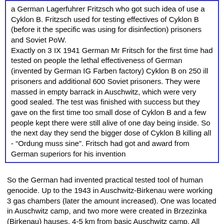a German Lagerfuhrer Fritzsch who got such idea of use a Cyklon B. Fritzsch used for testing effectives of Cyklon B (before it the specific was using for disinfection) prisoners and Soviet PoW.
Exactly on 3 IX 1941 German Mr Fritsch for the first time had tested on people the lethal effectiveness of German (invented by German IG Farben factory) Cyklon B on 250 ill prisoners and additional 600 Soviet prisoners. They were massed in empty barrack in Auschwitz, which were very good sealed. The test was finished with success but they gave on the first time too small dose of Cyklon B and a few people kept there were still alive of one day being inside. So the next day they send the bigger dose of Cyklon B killing all - "Ordung muss sine". Fritsch had got and award from German superiors for his invention
So the German had invented practical tested tool of human genocide. Up to the 1943 in Auschwitz-Birkenau were working 3 gas chambers (later the amount increased). One was located in Auschwitz camp, and two more were created in Brzezinka (Birkenau) hauses, 4-5 km from basic Auschwitz camp. All Polish inhabitants of Brzezinka village were simple expelled by Germans from their homes. Brzesinka areas (German called this village Birkenau) as you do not know, German did pay nothing for taking any private, not their property, which was belonging to subhuman as they loved and with great passion call other nations like: Jews, Gypsies, Poles, Russian. We were in WW II for German compared as Untermensch (subhuman) with something similar in "their blue pure Arian" German eves between the rats or insects.